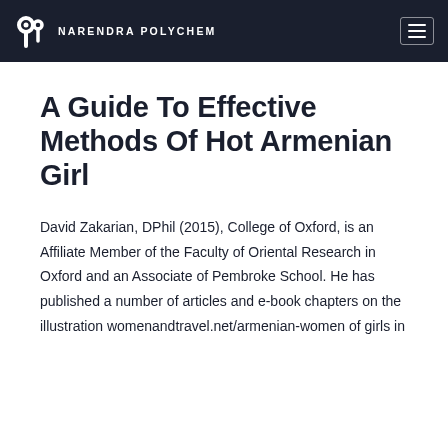NARENDRA POLYCHEM
A Guide To Effective Methods Of Hot Armenian Girl
David Zakarian, DPhil (2015), College of Oxford, is an Affiliate Member of the Faculty of Oriental Research in Oxford and an Associate of Pembroke School. He has published a number of articles and e-book chapters on the illustration womenandtravel.net/armenian-women of girls in